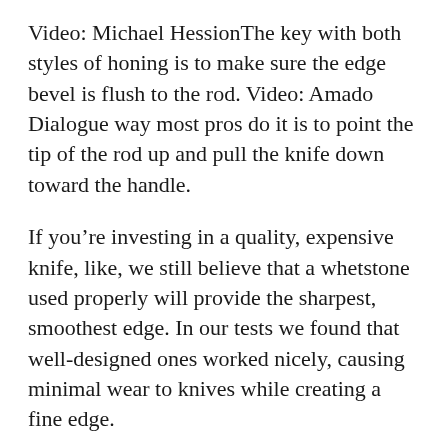Video: Michael HessionThe key with both styles of honing is to make sure the edge bevel is flush to the rod. Video: Amado Dialogue way most pros do it is to point the tip of the rod up and pull the knife down toward the handle.
If you're investing in a quality, expensive knife, like, we still believe that a whetstone used properly will provide the sharpest, smoothest edge. In our tests we found that well-designed ones worked nicely, causing minimal wear to knives while creating a fine edge.
And their convenience encourages people to use them regularly, which makes for safer chopping and a happier kitchen experience. However, make sure to avoid the cheapest knife sharpeners, which will quickly eat away too much of the blade's metal